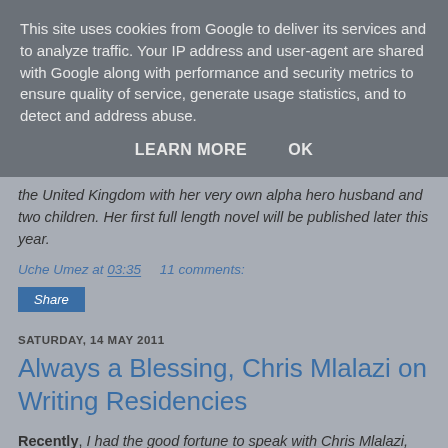This site uses cookies from Google to deliver its services and to analyze traffic. Your IP address and user-agent are shared with Google along with performance and security metrics to ensure quality of service, generate usage statistics, and to detect and address abuse.
LEARN MORE    OK
the United Kingdom with her very own alpha hero husband and two children. Her first full length novel will be published later this year.
Uche Umez at 03:35    11 comments:
Share
SATURDAY, 14 MAY 2011
Always a Blessing, Chris Mlalazi on Writing Residencies
Recently, I had the good fortune to speak with Chris Mlalazi,